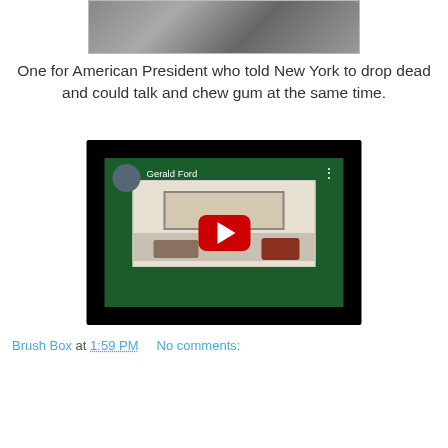[Figure (photo): Partial black and white photo at top of page, cropped]
One for American President who told New York to drop dead and could talk and chew gum at the same time.
[Figure (screenshot): YouTube video embed showing 'Gerald Ford' video with play button, channel avatar, and thumbnail of street scene with billboard and cars]
Brush Box at 1:59 PM    No comments:
Share